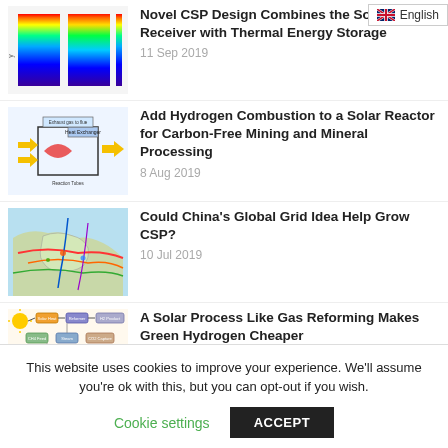[Figure (illustration): Heat map / thermal distribution diagram showing color gradient from blue to red for CSP solar receiver]
Novel CSP Design Combines the Solar Receiver with Thermal Energy Storage
11 Sep 2019
[Figure (schematic): Schematic diagram of a solar reactor with hydrogen combustion, showing exhaust gas, heat exchanger, combustion tubes]
Add Hydrogen Combustion to a Solar Reactor for Carbon-Free Mining and Mineral Processing
8 Aug 2019
[Figure (map): Map showing China's global grid idea with colored lines representing power grid connections across Asia]
Could China's Global Grid Idea Help Grow CSP?
10 Jul 2019
[Figure (flowchart): Flowchart diagram showing solar process for green hydrogen production with boxes, arrows, and process steps]
A Solar Process Like Gas Reforming Makes Green Hydrogen Cheaper
2 Jul 2019
This website uses cookies to improve your experience. We'll assume you're ok with this, but you can opt-out if you wish.
Cookie settings
ACCEPT